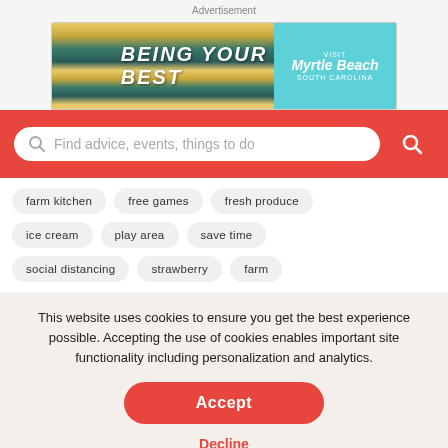Advertisement
[Figure (illustration): Advertisement banner for Visit Myrtle Beach, South Carolina with colorful horizontal stripes and 'BEING YOUR BEST' text]
[Figure (screenshot): Search bar with placeholder text 'Find advice, events, things to do' on red background with search button]
farm kitchen
free games
fresh produce
ice cream
play area
save time
social distancing
strawberry
farm
This website uses cookies to ensure you get the best experience possible. Accepting the use of cookies enables important site functionality including personalization and analytics.
Accept
Decline